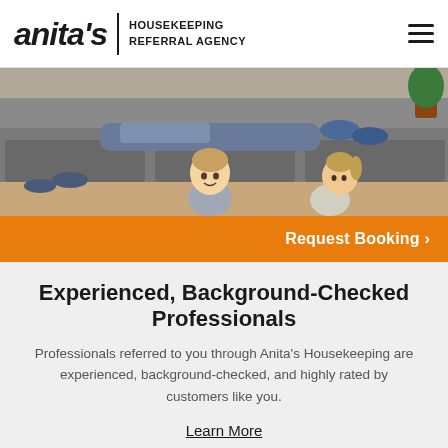anita's | HOUSEKEEPING REFERRAL AGENCY
[Figure (photo): Family relaxing on a grey couch at home; adults sitting/lying on couch, two young children playing on the floor in front.]
Request Booking >
Experienced, Background-Checked Professionals
Professionals referred to you through Anita's Housekeeping are experienced, background-checked, and highly rated by customers like you.
Learn More